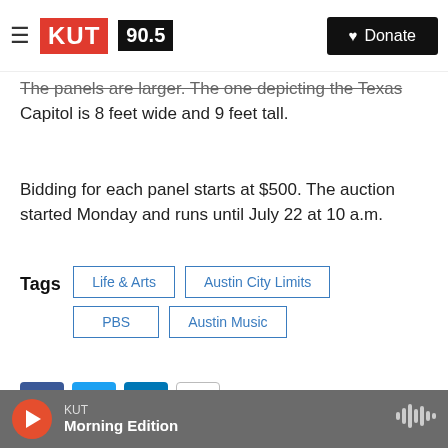KUT 90.5 | Donate
The panels are larger. The one depicting the Texas Capitol is 8 feet wide and 9 feet tall.
Bidding for each panel starts at $500. The auction started Monday and runs until July 22 at 10 a.m.
Tags: Life & Arts | Austin City Limits | PBS | Austin Music
[Figure (other): Author thumbnail photo]
Sangita Menon
KUT | Morning Edition (player bar)